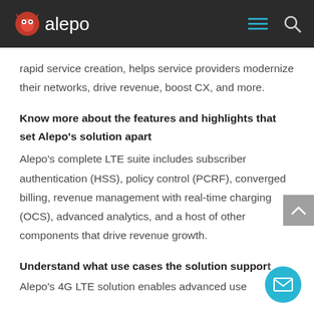alepo
rapid service creation, helps service providers modernize their networks, drive revenue, boost CX, and more.
Know more about the features and highlights that set Alepo’s solution apart
Alepo’s complete LTE suite includes subscriber authentication (HSS), policy control (PCRF), converged billing, revenue management with real-time charging (OCS), advanced analytics, and a host of other components that drive revenue growth.
Understand what use cases the solution support
Alepo’s 4G LTE solution enables advanced use